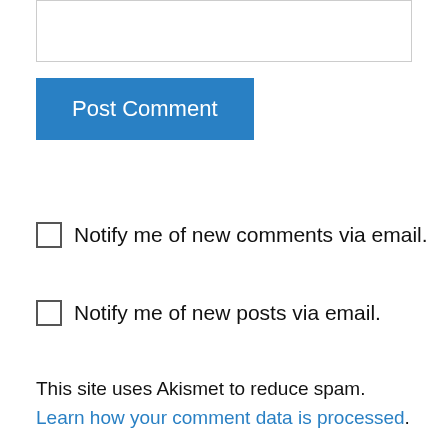[Figure (other): Text input area / comment box (empty)]
Post Comment
Notify me of new comments via email.
Notify me of new posts via email.
This site uses Akismet to reduce spam. Learn how your comment data is processed.
Pingback: Tweets that mention A New Painting and an Interview « Malcolm Guite -- Topsy.com
Janis Bonner on November 17, 2010 at 4:20 am
It is so lovely to glimpse the unselfish love you